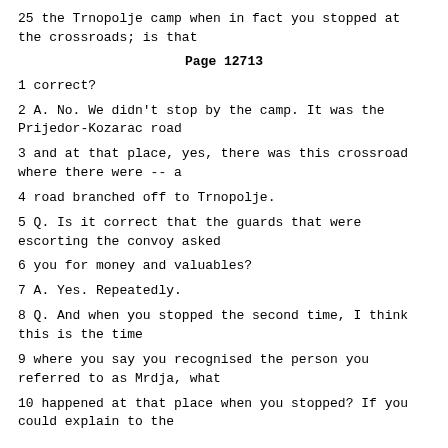25 the Trnopolje camp when in fact you stopped at the crossroads; is that
Page 12713
1 correct?
2 A. No. We didn't stop by the camp. It was the Prijedor-Kozarac road
3 and at that place, yes, there was this crossroad where there were -- a
4 road branched off to Trnopolje.
5 Q. Is it correct that the guards that were escorting the convoy asked
6 you for money and valuables?
7 A. Yes. Repeatedly.
8 Q. And when you stopped the second time, I think this is the time
9 where you say you recognised the person you referred to as Mrdja, what
10 happened at that place when you stopped? If you could explain to the